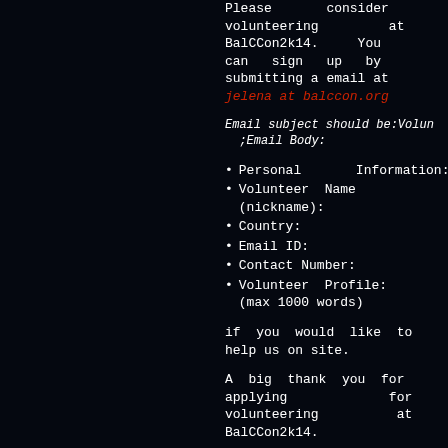Please consider volunteering at BalCCon2k14. You can sign up by submitting a email at jelena at balccon.org
Email subject should be:Volun ;Email Body:
Personal Information:
Volunteer Name (nickname):
Country:
Email ID:
Contact Number:
Volunteer Profile: (max 1000 words)
if you would like to help us on site.
A big thank you for applying for volunteering at BalCCon2k14.